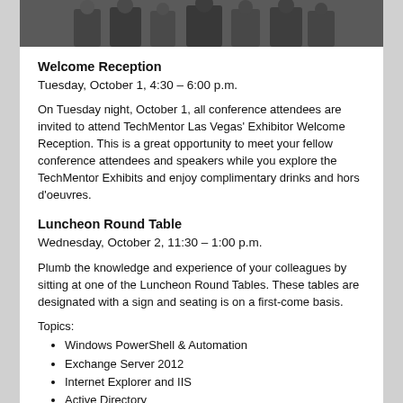[Figure (photo): Group photo of conference attendees, partially visible at top of page]
Welcome Reception
Tuesday, October 1, 4:30 – 6:00 p.m.
On Tuesday night, October 1, all conference attendees are invited to attend TechMentor Las Vegas' Exhibitor Welcome Reception. This is a great opportunity to meet your fellow conference attendees and speakers while you explore the TechMentor Exhibits and enjoy complimentary drinks and hors d'oeuvres.
Luncheon Round Table
Wednesday, October 2, 11:30 – 1:00 p.m.
Plumb the knowledge and experience of your colleagues by sitting at one of the Luncheon Round Tables. These tables are designated with a sign and seating is on a first-come basis.
Topics:
Windows PowerShell & Automation
Exchange Server 2012
Internet Explorer and IIS
Active Directory